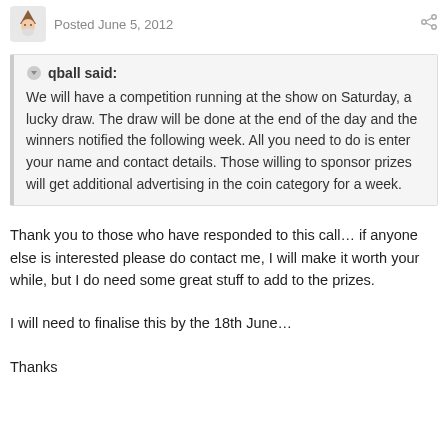Posted June 5, 2012
qball said:
We will have a competition running at the show on Saturday, a lucky draw. The draw will be done at the end of the day and the winners notified the following week. All you need to do is enter your name and contact details. Those willing to sponsor prizes will get additional advertising in the coin category for a week.
Thank you to those who have responded to this call… if anyone else is interested please do contact me, I will make it worth your while, but I do need some great stuff to add to the prizes.
I will need to finalise this by the 18th June…
Thanks